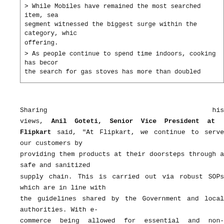> While Mobiles have remained the most searched item, segment witnessed the biggest surge within the category, which offering.
> As people continue to spend time indoors, cooking has become the search for gas stoves has more than doubled
Sharing his views, Anil Goteti, Senior Vice President at Flipkart said, "At Flipkart, we continue to serve our customers by providing them products at their doorsteps through a safe and sanitized supply chain. This is carried out via robust SOPs which are in line with the guidelines shared by the Government and local authorities. With e-commerce being allowed for essential and non-essential products in Orange and Green zones in specific States, we are seeing an increase in searches for products in categories such as Laptops, Consumer Electronics (such as headphones), Mobiles, Air Conditioners, Coolers, t shirts, and other essentials. We are working with lakhs of sellers and MSMEs across India, and helping them prepare their businesses and workforce to make products available for consumers in this time of